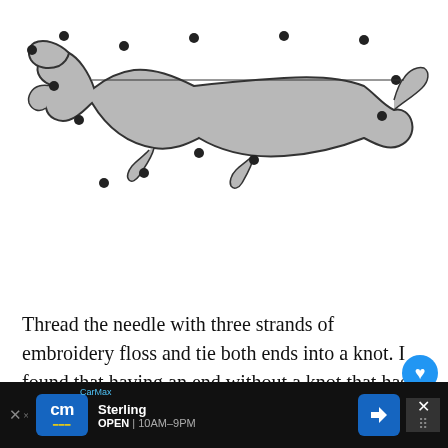[Figure (illustration): A line drawing of an alligator/crocodile shape filled with gray color, with black dots marking various points along its outline used as a sewing/stitching template pattern.]
Thread the needle with three strands of embroidery floss and tie both ends into a knot. I found that having an end without a knot that has to keep changing length is a little tricky for kids to understand.
To keep the floss from getting tangled run it through some beeswax. The beeswax will s... p... so
[Figure (screenshot): CarMax advertisement banner: 'cm Sterling OPEN 10AM-9PM' with blue logo and navigation arrow icon]